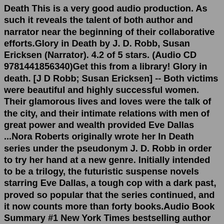Death This is a very good audio production. As such it reveals the talent of both author and narrator near the beginning of their collaborative efforts.Glory in Death by J. D. Robb, Susan Ericksen (Narrator). 4.2 of 5 stars. (Audio CD 9781441856340)Get this from a library! Glory in death. [J D Robb; Susan Ericksen] -- Both victims were beautiful and highly successful women. Their glamorous lives and loves were the talk of the city, and their intimate relations with men of great power and wealth provided Eve Dallas ...Nora Roberts originally wrote her In Death series under the pseudonym J. D. Robb in order to try her hand at a new genre. Initially intended to be a trilogy, the futuristic suspense novels starring Eve Dallas, a tough cop with a dark past, proved so popular that the series continued, and it now counts more than forty books.Audio Book Summary #1 New York Times bestselling author J. D. Robb presents the thrilling second novel in her In Death series. When technology can reveal the darkest of secrets, there's only one danger hidden in focus in the dark... The